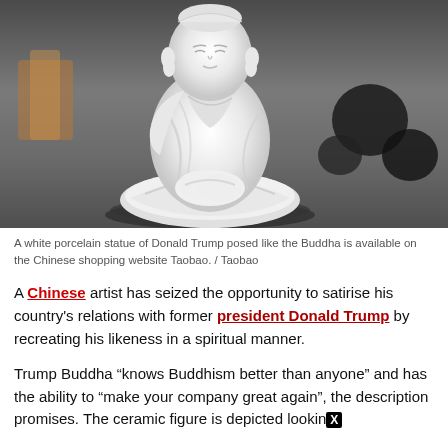[Figure (photo): A white porcelain statue of Donald Trump seated in a Buddha-like meditation pose, in a warehouse/studio setting with dark spherical objects in the background.]
A white porcelain statue of Donald Trump posed like the Buddha is available on the Chinese shopping website Taobao. / Taobao
A Chinese artist has seized the opportunity to satirise his country's relations with former president Donald Trump by recreating his likeness in a spiritual manner.
Trump Buddha “knows Buddhism better than anyone” and has the ability to “make your company great again”, the description promises. The ceramic figure is depicted lookin█